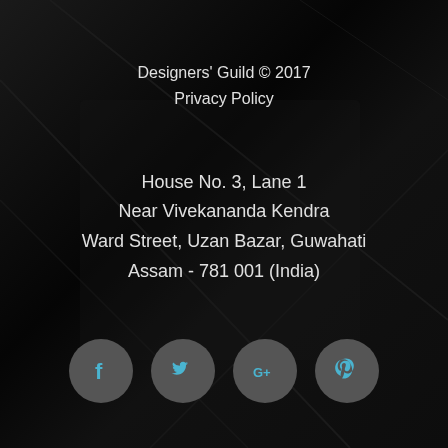Designers' Guild © 2017
Privacy Policy
House No. 3, Lane 1
Near Vivekananda Kendra
Ward Street, Uzan Bazar, Guwahati
Assam - 781 001 (India)
[Figure (illustration): Four social media icon buttons (Facebook, Twitter, Google+, Pinterest) as circular grey buttons with blue icons]